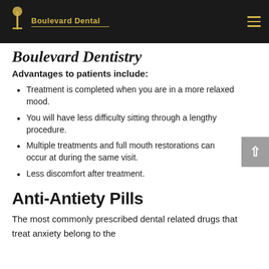Boulevard Dental
Boulevard Dentistry
Advantages to patients include:
Treatment is completed when you are in a more relaxed mood.
You will have less difficulty sitting through a lengthy procedure.
Multiple treatments and full mouth restorations can occur at during the same visit.
Less discomfort after treatment.
Anti-Antiety Pills
The most commonly prescribed dental related drugs that treat anxiety belong to the